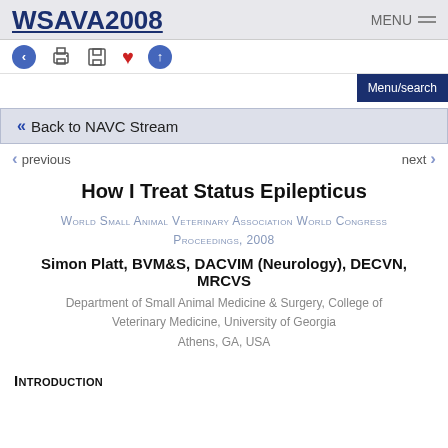WSAVA2008   MENU
← 🖨 💾 ♥ ↑
Menu/search
<< Back to NAVC Stream
previous   next
How I Treat Status Epilepticus
World Small Animal Veterinary Association World Congress Proceedings, 2008
Simon Platt, BVM&S, DACVIM (Neurology), DECVN, MRCVS
Department of Small Animal Medicine & Surgery, College of Veterinary Medicine, University of Georgia
Athens, GA, USA
Introduction